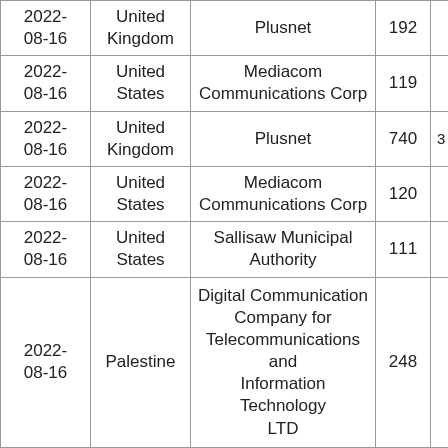| Date | Country | Organization | Count |  |
| --- | --- | --- | --- | --- |
| 2022-08-16 | United Kingdom | Plusnet | 192 |  |
| 2022-08-16 | United States | Mediacom Communications Corp | 119 |  |
| 2022-08-16 | United Kingdom | Plusnet | 740 | 3 |
| 2022-08-16 | United States | Mediacom Communications Corp | 120 |  |
| 2022-08-16 | United States | Sallisaw Municipal Authority | 111 |  |
| 2022-08-16 | Palestine | Digital Communication Company for Telecommunications and Information Technology LTD | 248 |  |